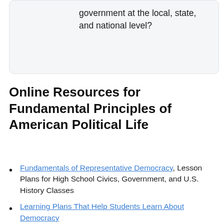government at the local, state, and national level?
Online Resources for Fundamental Principles of American Political Life
Fundamentals of Representative Democracy, Lesson Plans for High School Civics, Government, and U.S. History Classes
Learning Plans That Help Students Learn About Democracy